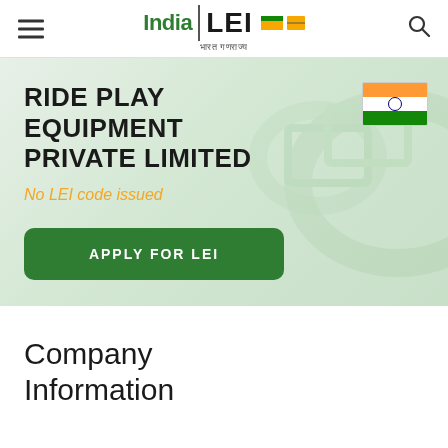India LEI — Navigation header with hamburger menu, India LEI logo, and search icon
RIDE PLAY EQUIPMENT PRIVATE LIMITED
No LEI code issued
APPLY FOR LEI
Company Information